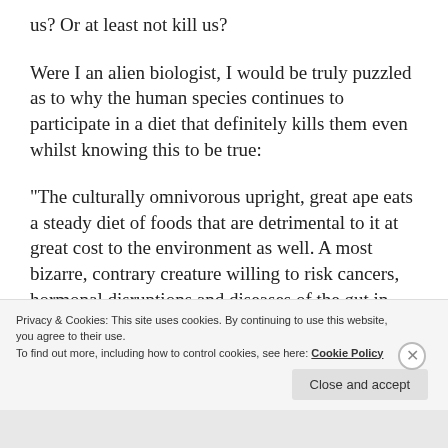us? Or at least not kill us?
Were I an alien biologist, I would be truly puzzled as to why the human species continues to participate in a diet that definitely kills them even whilst knowing this to be true:
“The culturally omnivorous upright, great ape eats a steady diet of foods that are detrimental to it at great cost to the environment as well. A most bizarre, contrary creature willing to risk cancers, hormonal disruptions and diseases of the gut in
Privacy & Cookies: This site uses cookies. By continuing to use this website, you agree to their use.
To find out more, including how to control cookies, see here: Cookie Policy